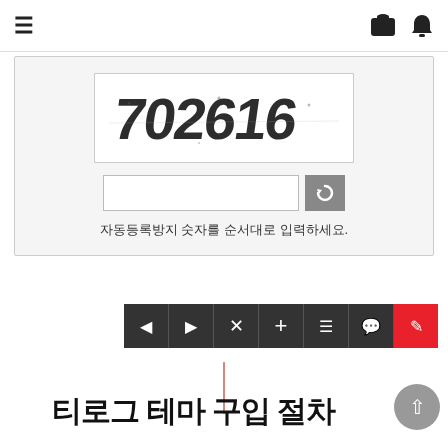☰  🛍  🔔
[Figure (screenshot): CAPTCHA verification widget showing distorted numbers '702616' in an image box, an input field, a refresh button, and Korean instruction text '자동등록방지 숫자를 순서대로 입력하세요.']
[Figure (screenshot): Dark toolbar with navigation icons: back, forward, close, plus, menu, comment, and a red edit/pencil button]
티로그 테마 구입 절차